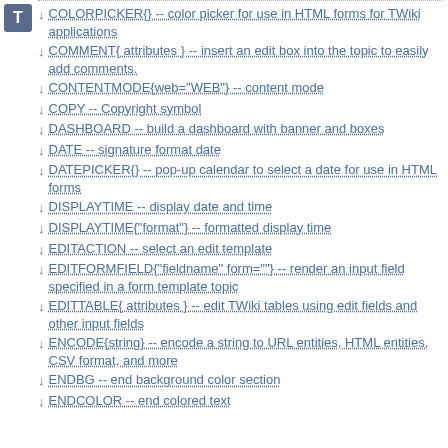COLORPICKER{} -- color picker for use in HTML forms for TWiki applications
COMMENT{ attributes } -- insert an edit box into the topic to easily add comments.
CONTENTMODE{web="WEB"} -- content mode
COPY -- Copyright symbol
DASHBOARD -- build a dashboard with banner and boxes
DATE -- signature format date
DATEPICKER{} -- pop-up calendar to select a date for use in HTML forms
DISPLAYTIME -- display date and time
DISPLAYTIME{"format"} -- formatted display time
EDITACTION -- select an edit template
EDITFORMFIELD{"fieldname" form=""} -- render an input field specified in a form template topic
EDITTABLE{ attributes } -- edit TWiki tables using edit fields and other input fields
ENCODE{string} -- encode a string to URL entities, HTML entities, CSV format, and more
ENDBG -- end background color section
ENDCOLOR -- end colored text